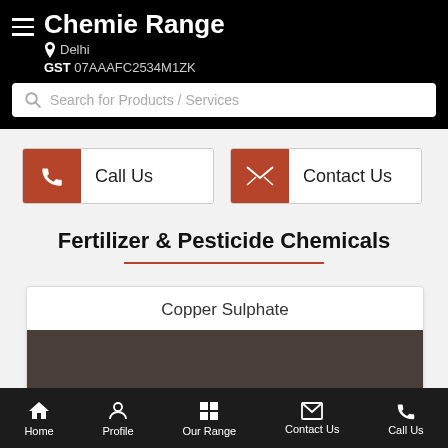Chemie Range
Delhi
GST 07AAAFC2534M1ZK
Search for Products / Services
Call Us
Contact Us
Fertilizer & Pesticide Chemicals
Copper Sulphate
Home  Profile  Our Range  Contact Us  Call Us